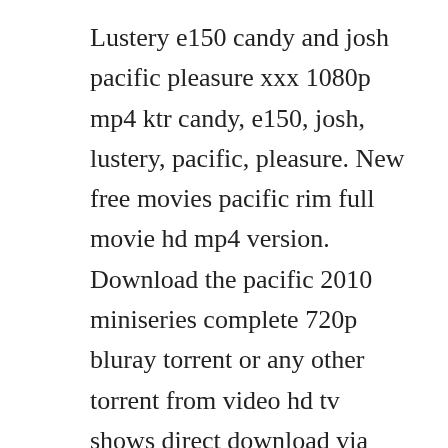Lustery e150 candy and josh pacific pleasure xxx 1080p mp4 ktr candy, e150, josh, lustery, pacific, pleasure. New free movies pacific rim full movie hd mp4 version. Download the pacific 2010 miniseries complete 720p bluray torrent or any other torrent from video hd tv shows direct download via magnet link.
Considering the different taste of movies, the list of best mp4 movie download sites will cover all kinds of movies, namely hollywood movies, bollywood hindi movies, blu ray, 3d. Free download jab tak hai jaan 2012 br full